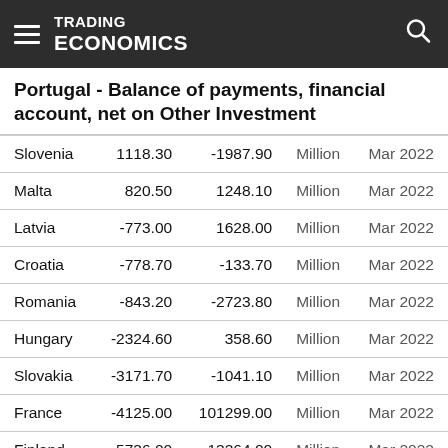TRADING ECONOMICS
Portugal - Balance of payments, financial account, net on Other Investment
| Country | Value1 | Value2 | Unit | Date |
| --- | --- | --- | --- | --- |
| Slovenia | 1118.30 | -1987.90 | Million | Mar 2022 |
| Malta | 820.50 | 1248.10 | Million | Mar 2022 |
| Latvia | -773.00 | 1628.00 | Million | Mar 2022 |
| Croatia | -778.70 | -133.70 | Million | Mar 2022 |
| Romania | -843.20 | -2723.80 | Million | Mar 2022 |
| Hungary | -2324.60 | 358.60 | Million | Mar 2022 |
| Slovakia | -3171.70 | -1041.10 | Million | Mar 2022 |
| France | -4125.00 | 101299.00 | Million | Mar 2022 |
| Finland | -5736.00 | -13264.00 | Million | Mar 2022 |